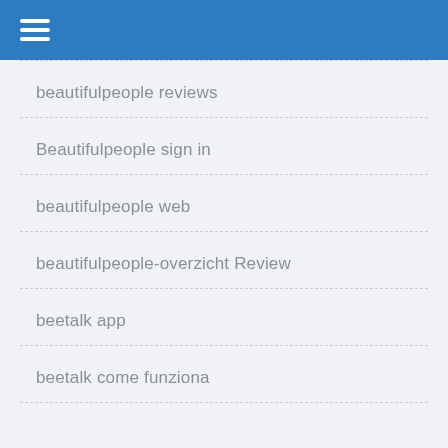[Figure (screenshot): Blue navigation header bar with hamburger menu icon (three white horizontal lines)]
beautifulpeople reviews
Beautifulpeople sign in
beautifulpeople web
beautifulpeople-overzicht Review
beetalk app
beetalk come funziona